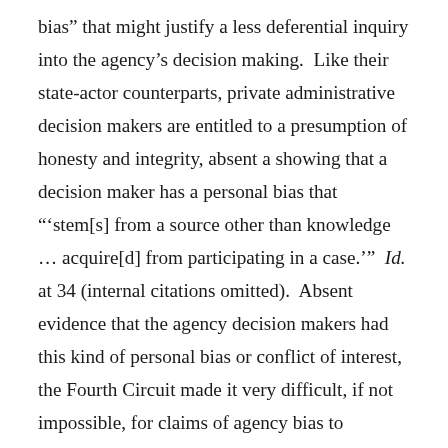bias” that might justify a less deferential inquiry into the agency’s decision making. Like their state-actor counterparts, private administrative decision makers are entitled to a presumption of honesty and integrity, absent a showing that a decision maker has a personal bias that “‘stem[s] from a source other than knowledge … acquire[d] from participating in a case.’” Id. at 34 (internal citations omitted). Absent evidence that the agency decision makers had this kind of personal bias or conflict of interest, the Fourth Circuit made it very difficult, if not impossible, for claims of agency bias to succeed. The Fourth Circuit rejected the notion that agency staff expressions of frustration, or even dislike, anger, or dissatisfaction, regarding the school or its representatives was sufficient to support a claim that personal bias improperly influenced the creation of the agency record. Absent evidence that